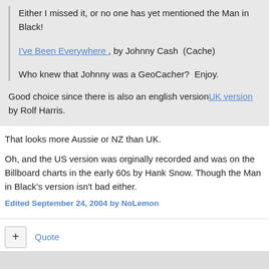Either I missed it, or no one has yet mentioned the Man in Black!
I've Been Everywhere , by Johnny Cash  (Cache)
Who knew that Johnny was a GeoCacher?  Enjoy.
Good choice since there is also an english versionUK version by Rolf Harris.
That looks more Aussie or NZ than UK.
Oh, and the US version was orginally recorded and was on the Billboard charts in the early 60s by Hank Snow. Though the Man in Black's version isn't bad either.
Edited September 24, 2004 by NoLemon